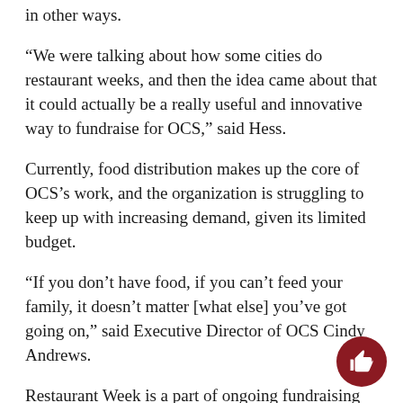in other ways.
“We were talking about how some cities do restaurant weeks, and then the idea came about that it could actually be a really useful and innovative way to fundraise for OCS,” said Hess.
Currently, food distribution makes up the core of OCS’s work, and the organization is struggling to keep up with increasing demand, given its limited budget.
“If you don’t have food, if you can’t feed your family, it doesn’t matter [what else] you’ve got going on,” said Executive Director of OCS Cindy Andrews.
Restaurant Week is a part of ongoing fundraising efforts to ensure that OCS has enough resources to avoid turning anyone away.
In 2013, OCS provided food to an average of 1,800